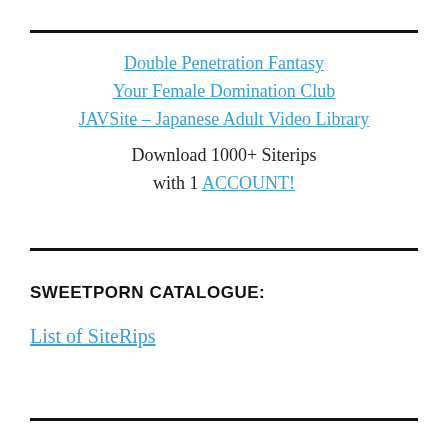Double Penetration Fantasy
Your Female Domination Club
JAVSite – Japanese Adult Video Library
Download 1000+ Siterips with 1 ACCOUNT!
SWEETPORN CATALOGUE:
List of SiteRips